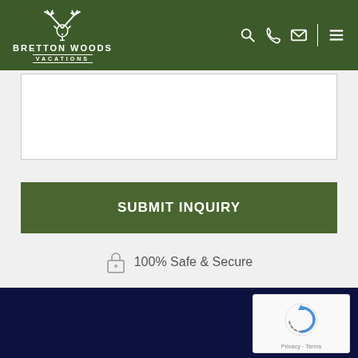BRETTON WOODS VACATIONS
[Figure (screenshot): Empty white textarea input field with light gray border]
[Figure (screenshot): Green submit inquiry button with text SUBMIT INQUIRY]
100% Safe & Secure
Footer dark blue area with reCAPTCHA widget showing Privacy - Terms